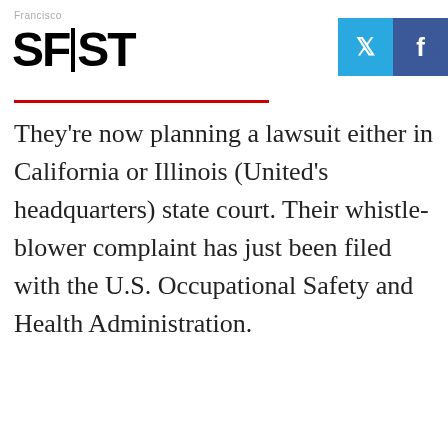SFiST
They're now planning a lawsuit either in California or Illinois (United's headquarters) state court. Their whistle-blower complaint has just been filed with the U.S. Occupational Safety and Health Administration.